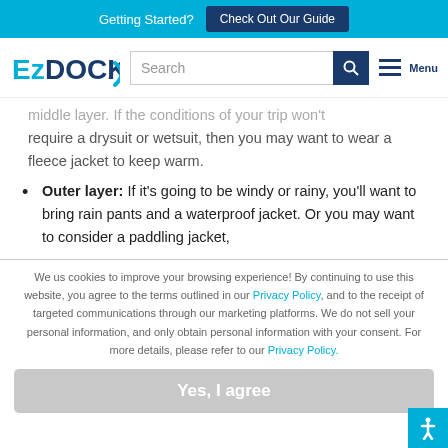Getting Started? Check Out Our Guide
[Figure (logo): EzDOCK logo with blue arrow swoosh]
middle layer. If the conditions of your trip won't require a drysuit or wetsuit, then you may want to wear a fleece jacket to keep warm.
Outer layer: If it’s going to be windy or rainy, you’ll want to bring rain pants and a waterproof jacket. Or you may want to consider a paddling jacket,
We us cookies to improve your browsing experience! By continuing to use this website, you agree to the terms outlined in our Privacy Policy, and to the receipt of targeted communications through our marketing platforms. We do not sell your personal information, and only obtain personal information with your consent. For more details, please refer to our Privacy Policy.
Yes, I agree